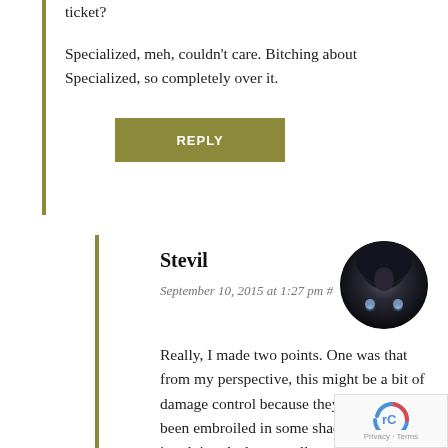ticket?
Specialized, meh, couldn't care. Bitching about Specialized, so completely over it.
REPLY
Stevil
September 10, 2015 at 1:27 pm #
[Figure (photo): Circular avatar photo of a person in a dark hooded cloak with glowing hands]
Really, I made two points. One was that from my perspective, this might be a bit of damage control because they have in fact been embroiled in some shady antics involving dealers, smaller manufacturers, larger manufacturers, etc., and two, I think